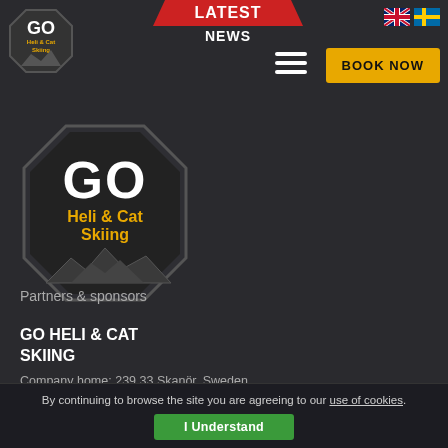Go Heli & Cat Skiing — navigation header with logo, Latest News banner, hamburger menu, Book Now button, and language flags
[Figure (logo): Small GO Heli & Cat Skiing logo in top-left corner]
[Figure (logo): Large GO Heli & Cat Skiing logo in main content area]
GO HELI & CAT SKIING
Company home: 239 33 Skanör, Sweden
E-mail: info@gohelicatskiing.com,
Skype: Gohelicatskiing
Facebook: facebook.com/goheliandcatskiing
Partners & sponsors
By continuing to browse the site you are agreeing to our use of cookies.
I Understand